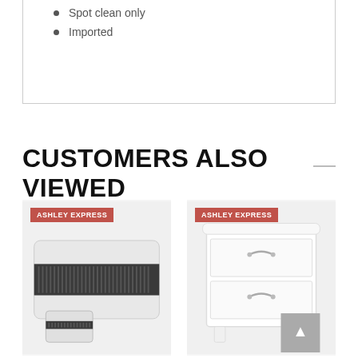Spot clean only
Imported
CUSTOMERS ALSO VIEWED
[Figure (photo): Product photo of a decorative pillow/bedding set with black and white striped pattern, shown with Ashley Express badge]
[Figure (photo): Product photo of a white three-drawer nightstand with decorative handles, shown with Ashley Express badge]